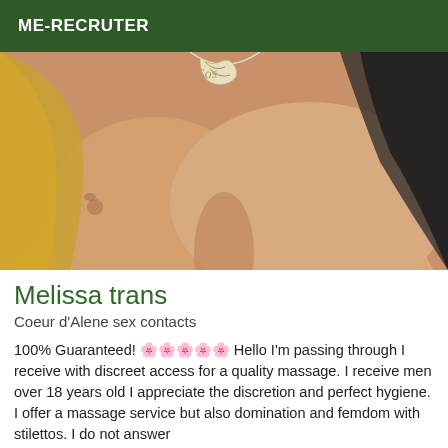ME-RECRUTER
[Figure (photo): Close-up photo of a person's chest and neck area wearing a black top and a decorative script necklace, with blonde hair visible on the left side.]
Melissa trans
Coeur d'Alene sex contacts
100% Guaranteed! 🌸🌸🌸🌸🌸 Hello I'm passing through I receive with discreet access for a quality massage. I receive men over 18 years old I appreciate the discretion and perfect hygiene. I offer a massage service but also domination and femdom with stilettos. I do not answer